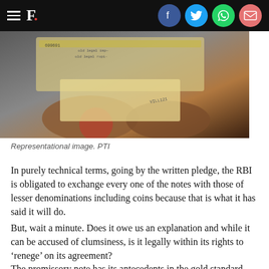[Figure (photo): Person holding Indian currency notes (Representational image)]
Representational image. PTI
In purely technical terms, going by the written pledge, the RBI is obligated to exchange every one of the notes with those of lesser denominations including coins because that is what it has said it will do.
But, wait a minute. Does it owe us an explanation and while it can be accused of clumsiness, is it legally within its rights to ‘renege’ on its agreement?
The promissory note has its antecedents in the gold standard when a note could be exchanged for precious metals and is based on the Bank of England’s monetary system. In fact, at